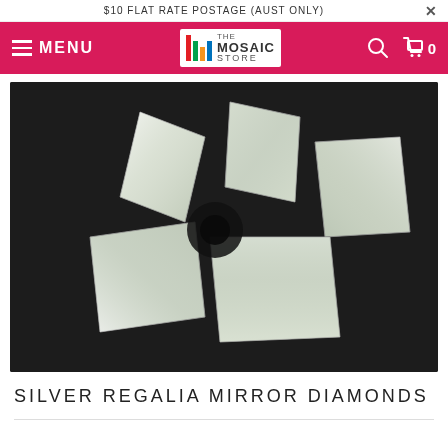$10 FLAT RATE POSTAGE (AUST ONLY)
[Figure (screenshot): Website navigation bar with hamburger menu labeled MENU, The Mosaic Store logo, search icon, and cart icon showing 0 items, on a crimson/pink background.]
[Figure (photo): Five silver diamond-shaped mirror mosaic tiles arranged in a pinwheel/star pattern on a dark background. The tiles are reflective with beveled edges.]
SILVER REGALIA MIRROR DIAMONDS